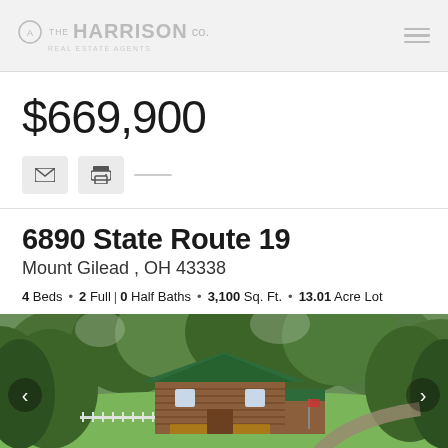THE HARRISON CO. REAL ESTATE AGENTS
$669,900
6890 State Route 19
Mount Gilead , OH 43338
4 Beds • 2 Full | 0 Half Baths • 3,100 Sq. Ft. • 13.01 Acre Lot
[Figure (photo): Aerial photo of a log-style cabin with green metal roof surrounded by dense green trees, with a green lawn in front and a dock/boat house visible at the bottom near a lake. Navigation arrows on left and right sides.]